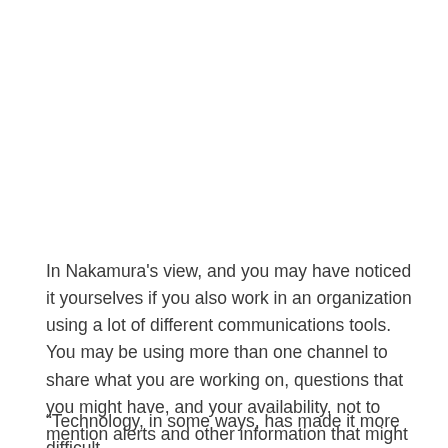In Nakamura's view, and you may have noticed it yourselves if you also work in an organization using a lot of different communications tools. You may be using more than one channel to share what you are working on, questions that you might have, and your availability, not to mention alerts and other information that might still be getting passed via email and other means.
“Technology, in some ways, has made it more difficult